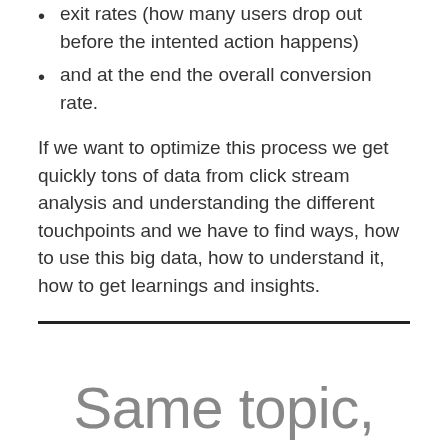exit rates (how many users drop out before the intented action happens)
and at the end the overall conversion rate.
If we want to optimize this process we get quickly tons of data from click stream analysis and understanding the different touchpoints and we have to find ways, how to use this big data, how to understand it, how to get learnings and insights.
Same topic,